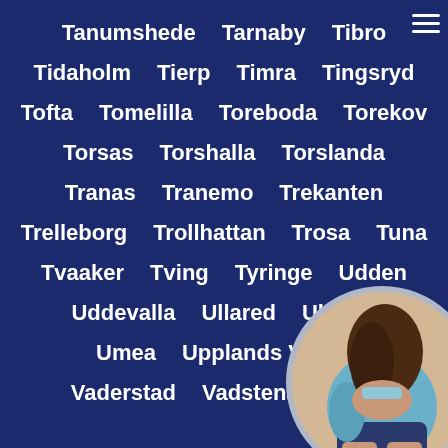Tanumshede   Tarnaby   Tibro
Tidaholm   Tierp   Timra   Tingsryd
Tofta   Tomelilla   Toreboda   Torekov
Torsas   Torshalla   Torslanda
Tranas   Tranemo   Trekanten
Trelleborg   Trollhattan   Trosa   Tuna
Tvaaker   Tving   Tyringe   Udden
Uddevalla   Ullared   Ulriceb...
Umea   Upplands Vasby
Vaderstad   Vadstena   Vagg...
[Figure (photo): Circular photo of a woman in a light blue top and dark shorts, partially overlaid on the lower right corner of the list]